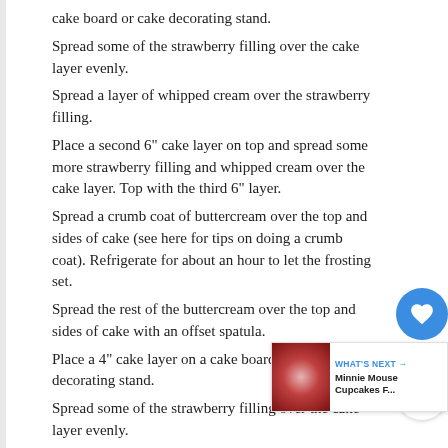cake board or cake decorating stand.
Spread some of the strawberry filling over the cake layer evenly.
Spread a layer of whipped cream over the strawberry filling.
Place a second 6" cake layer on top and spread some more strawberry filling and whipped cream over the cake layer. Top with the third 6" layer.
Spread a crumb coat of buttercream over the top and sides of cake (see here for tips on doing a crumb coat). Refrigerate for about an hour to let the frosting set.
Spread the rest of the buttercream over the top and sides of cake with an offset spatula.
Place a 4" cake layer on a cake board or cake decorating stand.
Spread some of the strawberry filling over the cake layer evenly.
Spread a layer of whipped cream over the strawberry filling.
Place the second 4" cake layer on top. Spread a crumb coat of buttercream over the top and sides of cake same as before. Refrigerate for about an hour.
When you are ready to finish the cake, spread the rest of the buttercream over the top and sides of the two cakes with an offset spatula. Place the smaller 4" cake on top of the 6" cake, aligning